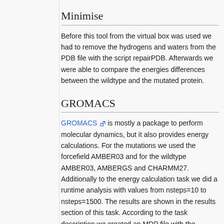Minimise
Before this tool from the virtual box was used we had to remove the hydrogens and waters from the PDB file with the script repairPDB. Afterwards we were able to compare the energies differences between the wildtype and the mutated protein.
GROMACS
GROMACS [external link] is mostly a package to perform molecular dynamics, but it also provides energy calculations. For the mutations we used the forcefield AMBER03 and for the wildtype AMBER03, AMBERGS and CHARMM27. Additionally to the energy calculation task we did a runtime analysis with values from nsteps=10 to nsteps=1500. The results are shown in the results section of this task. According to the task description we created an MDP file with the following content: